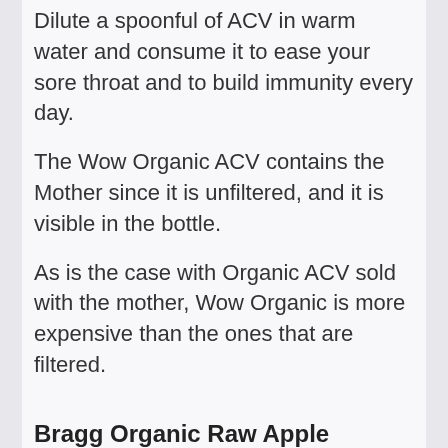Dilute a spoonful of ACV in warm water and consume it to ease your sore throat and to build immunity every day.
The Wow Organic ACV contains the Mother since it is unfiltered, and it is visible in the bottle.
As is the case with Organic ACV sold with the mother, Wow Organic is more expensive than the ones that are filtered.
Bragg Organic Raw Apple